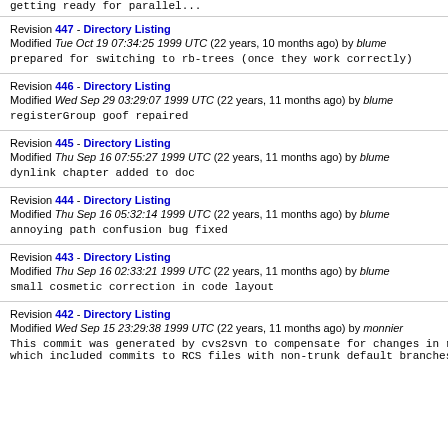getting ready for parallel...
Revision 447 - Directory Listing
Modified Tue Oct 19 07:34:25 1999 UTC (22 years, 10 months ago) by blume
prepared for switching to rb-trees (once they work correctly)
Revision 446 - Directory Listing
Modified Wed Sep 29 03:29:07 1999 UTC (22 years, 11 months ago) by blume
registerGroup goof repaired
Revision 445 - Directory Listing
Modified Thu Sep 16 07:55:27 1999 UTC (22 years, 11 months ago) by blume
dynlink chapter added to doc
Revision 444 - Directory Listing
Modified Thu Sep 16 05:32:14 1999 UTC (22 years, 11 months ago) by blume
annoying path confusion bug fixed
Revision 443 - Directory Listing
Modified Thu Sep 16 02:33:21 1999 UTC (22 years, 11 months ago) by blume
small cosmetic correction in code layout
Revision 442 - Directory Listing
Modified Wed Sep 15 23:29:38 1999 UTC (22 years, 11 months ago) by monnier
This commit was generated by cvs2svn to compensate for changes in r441,
which included commits to RCS files with non-trunk default branches.